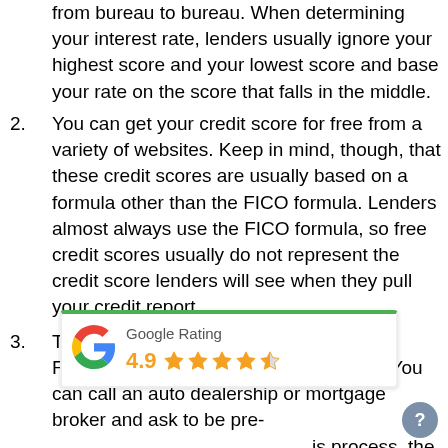from bureau to bureau. When determining your interest rate, lenders usually ignore your highest score and your lowest score and base your rate on the score that falls in the middle.
2. You can get your credit score for free from a variety of websites. Keep in mind, though, that these credit scores are usually based on a formula other than the FICO formula. Lenders almost always use the FICO formula, so free credit scores usually do not represent the credit score lenders will see when they pull your credit report.
3. This brings us to the best way to get your FICO credit score for free: Ask a lender. You can call an auto dealership or mortgage broker and ask to be pre- [Google Rating widget overlay] is process, the lender will an tell you your credit mind that your credit score will drop a couple of points due to the inquiry
[Figure (other): Google Rating widget showing 4.9 stars with a green top border]